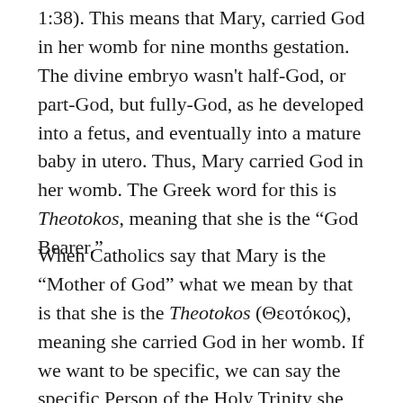1:38). This means that Mary, carried God in her womb for nine months gestation. The divine embryo wasn't half-God, or part-God, but fully-God, as he developed into a fetus, and eventually into a mature baby in utero. Thus, Mary carried God in her womb. The Greek word for this is Theotokos, meaning that she is the “God Bearer.”
When Catholics say that Mary is the “Mother of God” what we mean by that is that she is the Theotokos (Θεοτόκος), meaning she carried God in her womb. If we want to be specific, we can say the specific Person of the Holy Trinity she carried was God the Son. She did not carry God the Father in her womb, nor God the Holy Ghost,